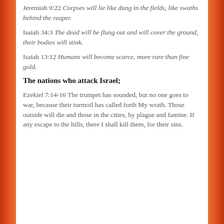Jeremiah 9:22 Corpses will lie like dung in the fields, like swaths behind the reaper.
Isaiah 34:3 The dead will be flung out and will cover the ground, their bodies will stink.
Isaiah 13:12 Humans will become scarce, more rare than fine gold.
The nations who attack Israel;
Ezekiel 7:14-16 The trumpet has sounded, but no one goes to war, because their turmoil has called forth My wrath. Those outside will die and those in the cities, by plague and famine. If any escape to the hills, there I shall kill them, for their sins.